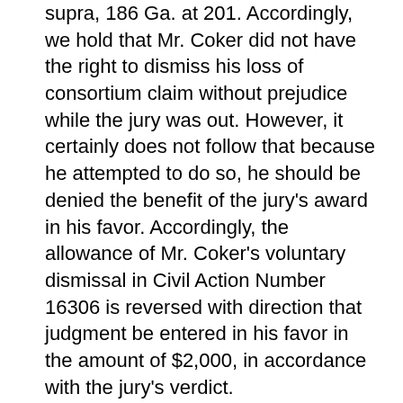supra, 186 Ga. at 201. Accordingly, we hold that Mr. Coker did not have the right to dismiss his loss of consortium claim without prejudice while the jury was out. However, it certainly does not follow that because he attempted to do so, he should be denied the benefit of the jury's award in his favor. Accordingly, the allowance of Mr. Coker's voluntary dismissal in Civil Action Number 16306 is reversed with direction that judgment be entered in his favor in the amount of $2,000, in accordance with the jury's verdict.
8. In view of the foregoing, the trial court did not err in granting Ms. Casey's motion for summary judgment in